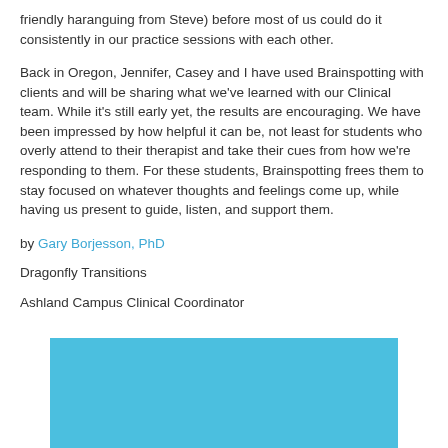friendly haranguing from Steve) before most of us could do it consistently in our practice sessions with each other.
Back in Oregon, Jennifer, Casey and I have used Brainspotting with clients and will be sharing what we've learned with our Clinical team. While it's still early yet, the results are encouraging. We have been impressed by how helpful it can be, not least for students who overly attend to their therapist and take their cues from how we're responding to them. For these students, Brainspotting frees them to stay focused on whatever thoughts and feelings come up, while having us present to guide, listen, and support them.
by Gary Borjesson, PhD
Dragonfly Transitions
Ashland Campus Clinical Coordinator
[Figure (other): Light blue rectangular image/banner at the bottom of the page]